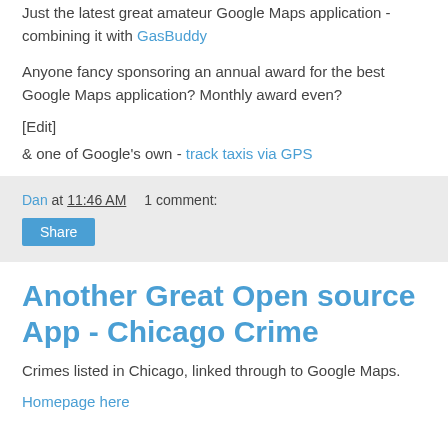Just the latest great amateur Google Maps application - combining it with GasBuddy
Anyone fancy sponsoring an annual award for the best Google Maps application? Monthly award even?
[Edit]
& one of Google's own - track taxis via GPS
Dan at 11:46 AM   1 comment:
Share
Another Great Open source App - Chicago Crime
Crimes listed in Chicago, linked through to Google Maps.
Homepage here